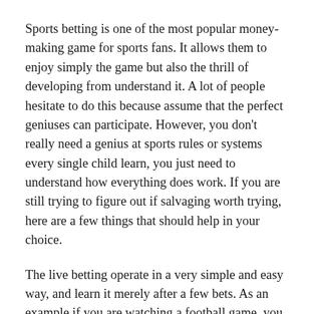Sports betting is one of the most popular money-making game for sports fans. It allows them to enjoy simply the game but also the thrill of developing from understand it. A lot of people hesitate to do this because assume that the perfect geniuses can participate. However, you don't really need a genius at sports rules or systems every single child learn, you just need to understand how everything does work. If you are still trying to figure out if salvaging worth trying, here are a few things that should help in your choice.
The live betting operate in a very simple and easy way, and learn it merely after a few bets. As an example if you are watching a football game, you can bet on every single game while it is on. You only need a home pc while online game is running on the television. If you see that your favorite player is heating up and will almost certainly make a goal, you could bet on next shot